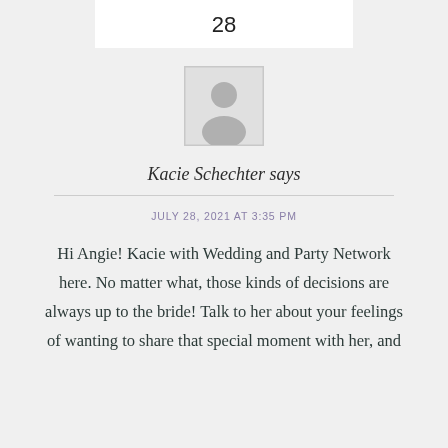28
[Figure (illustration): Default user avatar placeholder image — grey silhouette of a person on light grey background, inside a square border]
Kacie Schechter says
JULY 28, 2021 AT 3:35 PM
Hi Angie! Kacie with Wedding and Party Network here. No matter what, those kinds of decisions are always up to the bride! Talk to her about your feelings of wanting to share that special moment with her, and